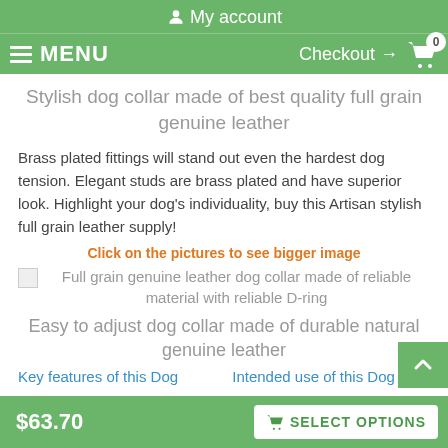My account
MENU  Checkout → 0
Stylish dog collar made of best quality full grain genuine leather
Brass plated fittings will stand out even the hardest dog tension. Elegant studs are brass plated and have superior look. Highlight your dog's individuality, buy this Artisan stylish full grain leather supply!
Click on the pictures to see bigger image
[Figure (photo): Full grain genuine leather dog collar made of reliable material with reliable D-ring]
Easy to adjust dog collar made of durable natural genuine leather
Key features of this Dog
Intended use of this Dog
$63.70  SELECT OPTIONS